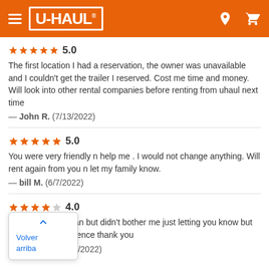U-HAUL
5.0
The first location I had a reservation, the owner was unavailable and I couldn't get the trailer I reserved. Cost me time and money. Will look into other rental companies before renting from uhaul next time
— John R. (7/13/2022)
5.0
You were very friendly n help me . I would not change anything. Will rent again from you n let my family know.
— bill M. (6/7/2022)
4.0
Vehicle wasn't clean but didn't bother me just letting you know but was a good experience thank you
— michael H. (6/4/2022)